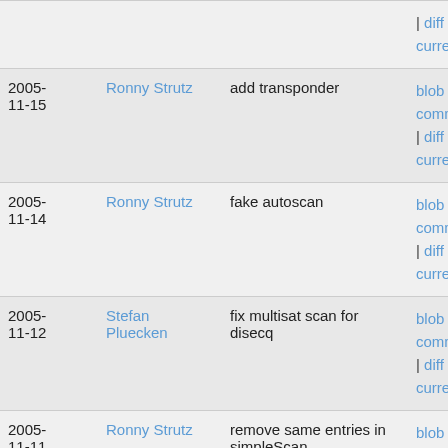| Date | Author | Message | Links |
| --- | --- | --- | --- |
|  |  |  | | diff to current |
| 2005-11-15 | Ronny Strutz | add transponder | blob | commitdiff | diff to current |
| 2005-11-14 | Ronny Strutz | fake autoscan | blob | commitdiff | diff to current |
| 2005-11-12 | Stefan Pluecken | fix multisat scan for disecq | blob | commitdiff | diff to current |
| 2005-11-11 | Ronny Strutz | remove same entries in simpleScan | blob | commitdiff | diff to current |